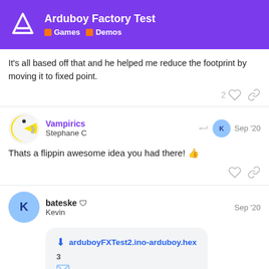Arduboy Factory Test — Games · Demos
It's all based off that and he helped me reduce the footprint by moving it to fixed point.
Vampirics / Stephane C — Sep '20 — Thats a flippin awesome idea you had there! 👍
bateske / Kevin — Sep '20 — arduboyFXTest2.ino-arduboy.hex — 3